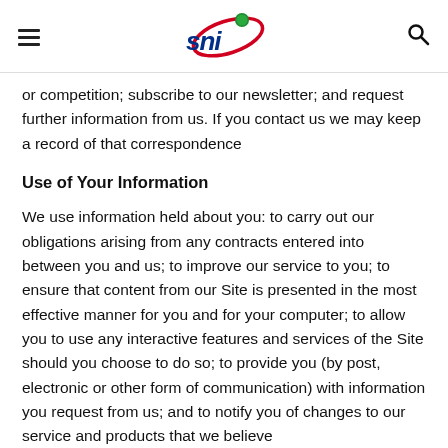SNI logo header with hamburger menu and search icon
or competition; subscribe to our newsletter; and request further information from us. If you contact us we may keep a record of that correspondence
Use of Your Information
We use information held about you: to carry out our obligations arising from any contracts entered into between you and us; to improve our service to you; to ensure that content from our Site is presented in the most effective manner for you and for your computer; to allow you to use any interactive features and services of the Site should you choose to do so; to provide you (by post, electronic or other form of communication) with information you request from us; and to notify you of changes to our service and products that we believe